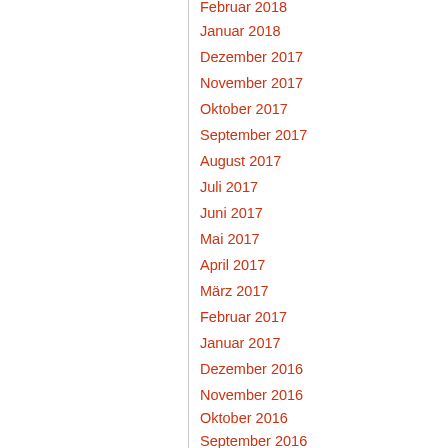Februar 2018
Januar 2018
Dezember 2017
November 2017
Oktober 2017
September 2017
August 2017
Juli 2017
Juni 2017
Mai 2017
April 2017
März 2017
Februar 2017
Januar 2017
Dezember 2016
November 2016
Oktober 2016
September 2016